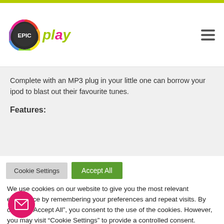[Figure (logo): EPIC play logo with circular multicolor ring and 'play' text in green/pink]
Complete with an MP3 plug in your little one can borrow your ipod to blast out their favourite tunes.
Features:
Cookie Settings  Accept All
We use cookies on our website to give you the most relevant experience by remembering your preferences and repeat visits. By clicking “Accept All”, you consent to the use of the cookies. However, you may visit “Cookie Settings” to provide a controlled consent.